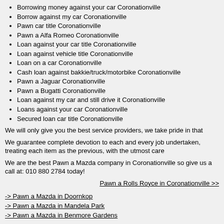Borrowing money against your car Coronationville
Borrow against my car Coronationville
Pawn car title Coronationville
Pawn a Alfa Romeo Coronationville
Loan against your car title Coronationville
Loan against vehicle title Coronationville
Loan on a car Coronationville
Cash loan against bakkie/truck/motorbike Coronationville
Pawn a Jaguar Coronationville
Pawn a Bugatti Coronationville
Loan against my car and still drive it Coronationville
Loans against your car Coronationville
Secured loan car title Coronationville
We will only give you the best service providers, we take pride in that
We guarantee complete devotion to each and every job undertaken, treating each item as the previous, with the utmost care
We are the best Pawn a Mazda company in Coronationville so give us a call at: 010 880 2784 today!
Pawn a Rolls Royce in Coronationville >>
-> Pawn a Mazda in Doornkop
-> Pawn a Mazda in Mandela Park
-> Pawn a Mazda in Benmore Gardens